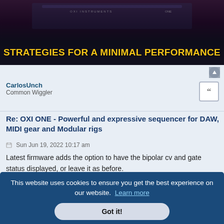[Figure (photo): Dark banner image with synthesizer/keyboard equipment in the background, with bold yellow text reading 'STRATEGIES FOR A MINIMAL PERFORMANCE']
CarlosUnch
Common Wiggler
Re: OXI ONE - Powerful and expressive sequencer for DAW, MIDI gear and Modular rigs
Sun Jun 19, 2022 10:17 am
Latest firmware adds the option to have the bipolar cv and gate status displayed, or leave it as before.
This website uses cookies to ensure you get the best experience on our website. Learn more
Got it!